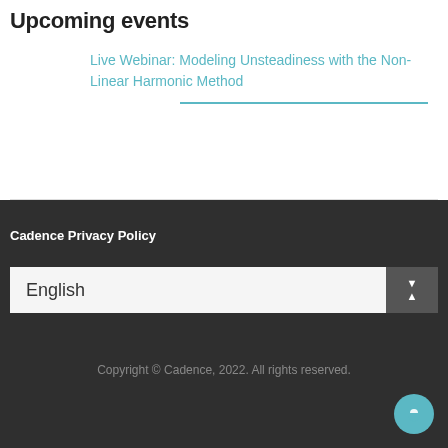Upcoming events
Live Webinar: Modeling Unsteadiness with the Non-Linear Harmonic Method
Cadence Privacy Policy
English
Copyright © Cadence, 2022. All rights reserved.